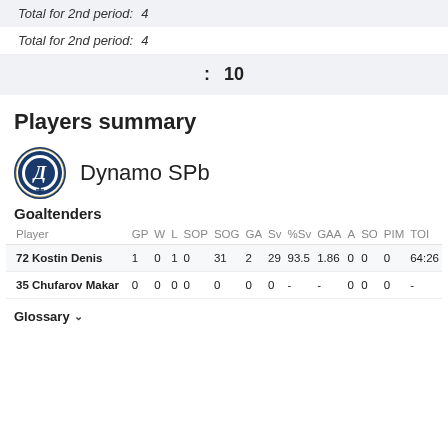Total for 2nd period:  4
Total for 2nd period:  4
:  10
Players summary
[Figure (logo): Dynamo SPb team logo — circular blue and white badge with stylized D]
Dynamo SPb
Goaltenders
| Player | GP | W | L | SOP | SOG | GA | Sv | %Sv | GAA | A | SO | PIM | TOI |
| --- | --- | --- | --- | --- | --- | --- | --- | --- | --- | --- | --- | --- | --- |
| 72 Kostin Denis | 1 | 0 | 1 | 0 | 31 | 2 | 29 | 93.5 | 1.86 | 0 | 0 | 0 | 64:26 |
| 35 Chufarov Makar | 0 | 0 | 0 | 0 | 0 | 0 | 0 | - | - | 0 | 0 | 0 | - |
Glossary ∨